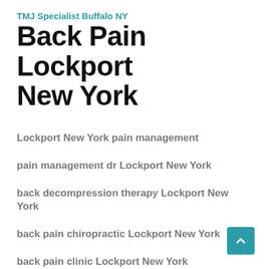TMJ Specialist Buffalo NY
Back Pain Lockport New York
Lockport New York pain management
pain management dr Lockport New York
back decompression therapy Lockport New York
back pain chiropractic Lockport New York
back pain clinic Lockport New York
back pain dr Lockport New York